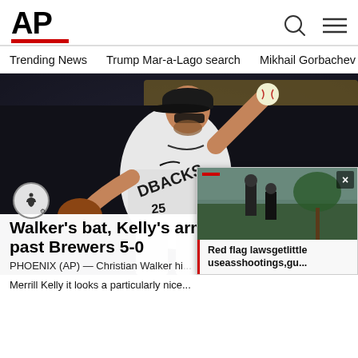AP
Trending News   Trump Mar-a-Lago search   Mikhail Gorbachev d
[Figure (photo): Baseball pitcher in Arizona Diamondbacks uniform mid-throw on the mound]
Walker's bat, Kelly's arm lea... past Brewers 5-0
PHOENIX (AP) — Christian Walker hi...
Red flag lawsgetlittle useasshootings,gu...